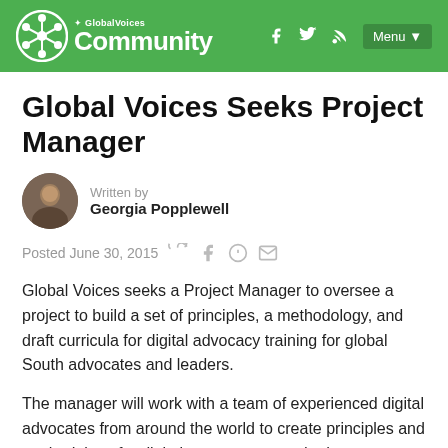GlobalVoices Community
Global Voices Seeks Project Manager
Written by
Georgia Popplewell
Posted June 30, 2015
Global Voices seeks a Project Manager to oversee a project to build a set of principles, a methodology, and draft curricula for digital advocacy training for global South advocates and leaders.
The manager will work with a team of experienced digital advocates from around the world to create principles and methodology for digital engagement and advocacy training and resources for global South advocates and leaders.